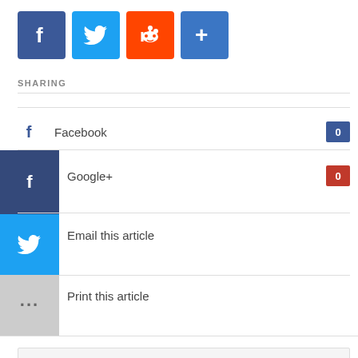[Figure (other): Social sharing icons: Facebook (blue), Twitter (light blue), Reddit (orange), plus/share (blue)]
SHARING
Facebook  0
Google+  0
Email this article
Print this article
TAGS
Export, Glass Bead, Glass Fibre, Glass Mirror, Glass Wool, Glassware, India, Indian Ceramics, Sanitary fixtures of Porcelain, Tinted Non-Wired Glass